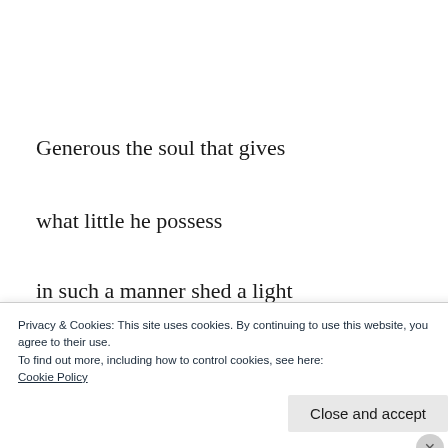Generous the soul that gives
what little he possess
in such a manner shed a light
about the greatest gift
Privacy & Cookies: This site uses cookies. By continuing to use this website, you agree to their use.
To find out more, including how to control cookies, see here:
Cookie Policy
Close and accept